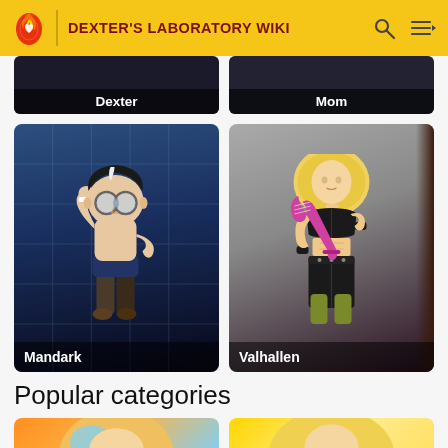DEXTER'S LABORATORY WIKI
[Figure (screenshot): Partial character card showing Dexter with label 'Dexter' at bottom]
[Figure (screenshot): Partial character card showing Mom with label 'Mom' at bottom]
[Figure (illustration): Character card for Mandark – animated teen boy with large glasses on blue grid background, label 'Mandark']
[Figure (illustration): Character card for Valhallen – muscular blonde female character in black outfit holding pink guitar, label 'Valhallen']
Popular categories
[Figure (illustration): Partial category card showing Dexter character from below, orange/blue background]
[Figure (illustration): Partial category card showing Dee Dee character from below, yellow background]